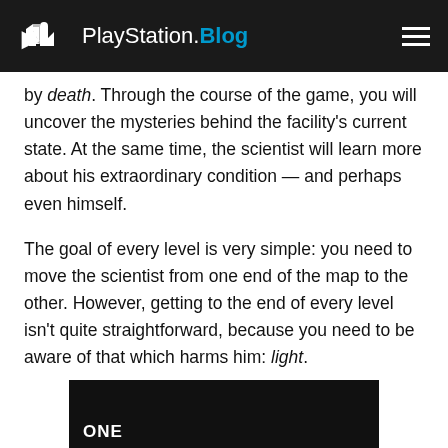PlayStation.Blog
by death. Through the course of the game, you will uncover the mysteries behind the facility's current state. At the same time, the scientist will learn more about his extraordinary condition — and perhaps even himself.
The goal of every level is very simple: you need to move the scientist from one end of the map to the other. However, getting to the end of every level isn't quite straightforward, because you need to be aware of that which harms him: light.
[Figure (photo): Black and white screenshot from a game showing the word 'ONE' or similar text overlay]